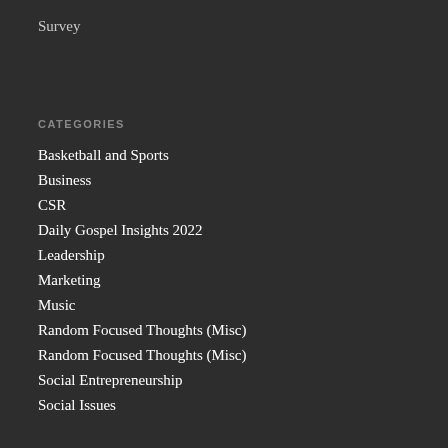Survey
CATEGORIES
Basketball and Sports
Business
CSR
Daily Gospel Insights 2022
Leadership
Marketing
Music
Random Focused Thoughts (Misc)
Random Focused Thoughts (Misc)
Social Entrepreneurship
Social Issues